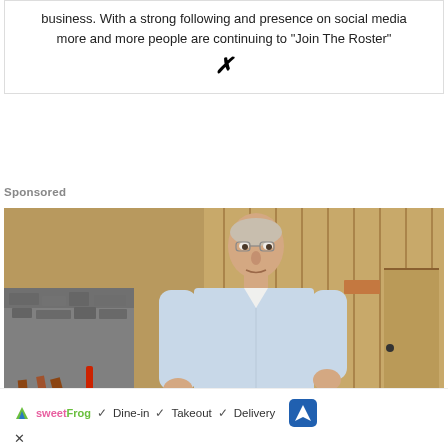business. With a strong following and presence on social media more and more people are continuing to "Join The Roster"
[Figure (logo): XING social media logo symbol]
Sponsored
[Figure (photo): A man in a light blue dress shirt standing in front of wooden plank walls, appears to be in a barn or workshop setting with timber and tools visible on the left side.]
sweetFrog  ✓ Dine-in  ✓ Takeout  ✓ Delivery  [navigation icon]  ✕